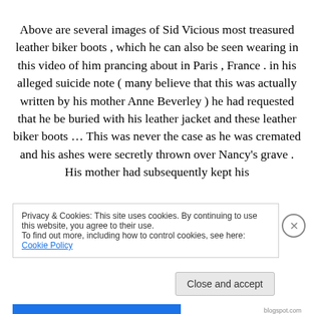Above are several images of Sid Vicious most treasured leather biker boots , which he can also be seen wearing in this video of him prancing about in Paris , France . in his alleged suicide note ( many believe that this was actually written by his mother Anne Beverley ) he had requested that he be buried with his leather jacket and these leather biker boots … This was never the case as he was cremated and his ashes were secretly thrown over Nancy's grave . His mother had subsequently kept his
Privacy & Cookies: This site uses cookies. By continuing to use this website, you agree to their use.
To find out more, including how to control cookies, see here: Cookie Policy
Close and accept